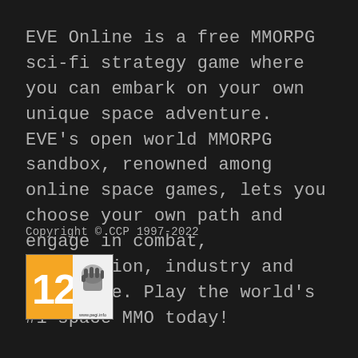EVE Online is a free MMORPG sci-fi strategy game where you can embark on your own unique space adventure. EVE's open world MMORPG sandbox, renowned among online space games, lets you choose your own path and engage in combat, exploration, industry and much more. Play the world's #1 space MMO today!
Copyright © CCP 1997-2022
[Figure (logo): PEGI 12 age rating badge with www.pegi.info text]